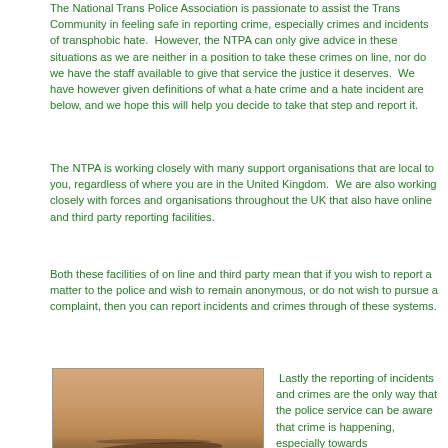The National Trans Police Association is passionate to assist the Trans Community in feeling safe in reporting crime, especially crimes and incidents of transphobic hate. However, the NTPA can only give advice in these situations as we are neither in a position to take these crimes on line, nor do we have the staff available to give that service the justice it deserves. We have however given definitions of what a hate crime and a hate incident are below, and we hope this will help you decide to take that step and report it.
The NTPA is working closely with many support organisations that are local to you, regardless of where you are in the United Kingdom. We are also working closely with forces and organisations throughout the UK that also have online and third party reporting facilities.
Both these facilities of on line and third party mean that if you wish to report a matter to the police and wish to remain anonymous, or do not wish to pursue a complaint, then you can report incidents and crimes through of these systems.
[Figure (photo): Close-up photo of a person's forehead and eyebrow area, skin-tone image]
Lastly the reporting of incidents and crimes are the only way that the police service can be aware that crime is happening, especially towards